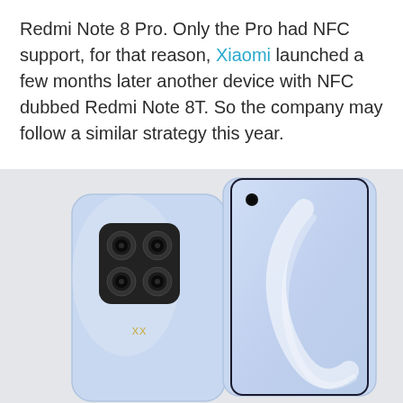Redmi Note 8 Pro. Only the Pro had NFC support, for that reason, Xiaomi launched a few months later another device with NFC dubbed Redmi Note 8T. So the company may follow a similar strategy this year.
[Figure (photo): Product photo showing two Xiaomi smartphones side by side in light blue color. Left phone shows the back with a square quad-camera module. Right phone shows the front display with a punch-hole camera in top-left corner and a decorative curved line on screen.]